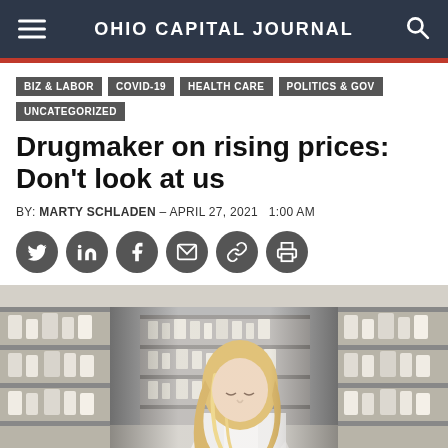OHIO CAPITAL JOURNAL
BIZ & LABOR
COVID-19
HEALTH CARE
POLITICS & GOV
UNCATEGORIZED
Drugmaker on rising prices: Don't look at us
BY: MARTY SCHLADEN – APRIL 27, 2021   1:00 AM
[Figure (photo): A female pharmacist with long blonde hair wearing a white lab coat looks down at something behind a pharmacy counter, surrounded by shelves stocked with medication bottles and pharmaceutical products.]